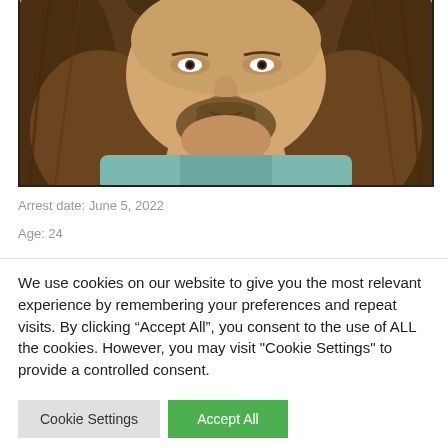[Figure (photo): Mugshot photo of a person with long brown hair and a beard/goatee, wearing a light blue shirt. The photo is cropped showing the face and upper shoulders.]
Arrest date: June 5, 2022
Age: 24
We use cookies on our website to give you the most relevant experience by remembering your preferences and repeat visits. By clicking “Accept All”, you consent to the use of ALL the cookies. However, you may visit "Cookie Settings" to provide a controlled consent.
Cookie Settings
Accept All